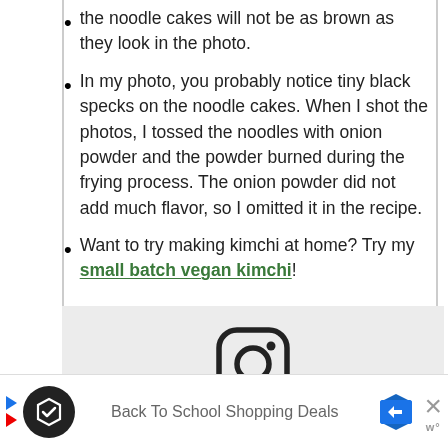the noodle cakes will not be as brown as they look in the photo.
In my photo, you probably notice tiny black specks on the noodle cakes. When I shot the photos, I tossed the noodles with onion powder and the powder burned during the frying process. The onion powder did not add much flavor, so I omitted it in the recipe.
Want to try making kimchi at home? Try my small batch vegan kimchi!
[Figure (logo): Instagram logo icon (rounded square with camera outline)]
Did you make this recipe? Tag @hellolisalin or leave a star rating and comment on the blog!
Back To School Shopping Deals